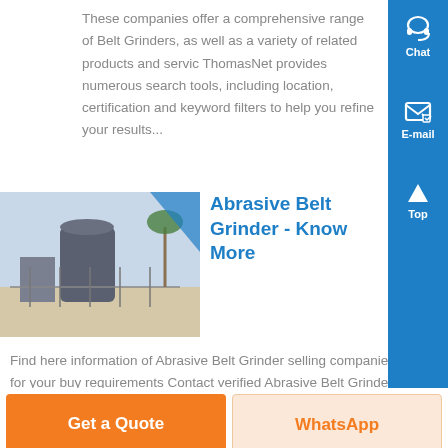These companies offer a comprehensive range of Belt Grinders, as well as a variety of related products and servic ThomasNet provides numerous search tools, including location, certification and keyword filters to help you refine your results...
[Figure (photo): Outdoor industrial/manufacturing equipment photo showing large cylindrical tanks or machinery against a desert landscape with a palm tree visible]
Abrasive Belt Grinder - Know More
Find here information of Abrasive Belt Grinder selling companies for your buy requirements Contact verified Abrasive Belt Grinder Manufacturers, Abrasive Belt Grinder suppliers, Abrasive Belt Grinder exporters wholesalers, producers, retaile